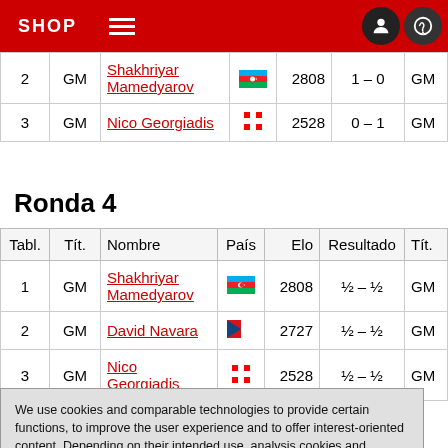SHOP
| Tabl. | Tít. | Nombre | País | Elo | Resultado | Tít. |
| --- | --- | --- | --- | --- | --- | --- |
| 2 | GM | Shakhriyar Mamedyarov | [AZ flag] | 2808 | 1 – 0 | GM |
| 3 | GM | Nico Georgiadis | [CH flag] | 2528 | 0 – 1 | GM |
Ronda 4
| Tabl. | Tít. | Nombre | País | Elo | Resultado | Tít. |
| --- | --- | --- | --- | --- | --- | --- |
| 1 | GM | Shakhriyar Mamedyarov | [AZ flag] | 2808 | ½ – ½ | GM |
| 2 | GM | David Navara | [CZ flag] | 2727 | ½ – ½ | GM |
| 3 | GM | Nico Georgiadis | [CH flag] | 2528 | ½ – ½ | GM |
We use cookies and comparable technologies to provide certain functions, to improve the user experience and to offer interest-oriented content. Depending on their intended use, analysis cookies and marketing cookies may be used in addition to technically required cookies. Here you can make detailed settings or revoke your consent (if necessary partially) with effect for the future. Further information can be found in our data protection declaration.